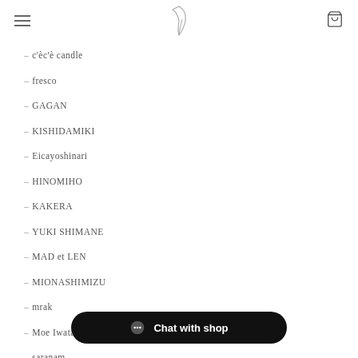Navigation header with hamburger menu, logo, and cart icon
– c'èc'è candle
– fresco
– GAGAN
– KISHIDAMIKI
– Eicayoshinari
– HINOMIHO
– KAKERA
– YUKI SHIMANE
– MAD et LEN
– MIONASHIMIZU
– mrak
– Moe Iwata
– saranam
– yyuha